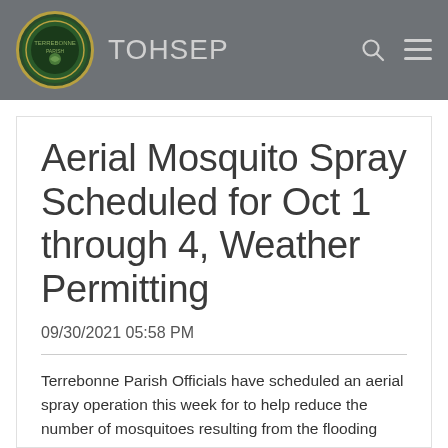TOHSEP
Aerial Mosquito Spray Scheduled for Oct 1 through 4, Weather Permitting
09/30/2021 05:58 PM
Terrebonne Parish Officials have scheduled an aerial spray operation this week for to help reduce the number of mosquitoes resulting from the flooding caused by Hurricane Ida. The aerial applications